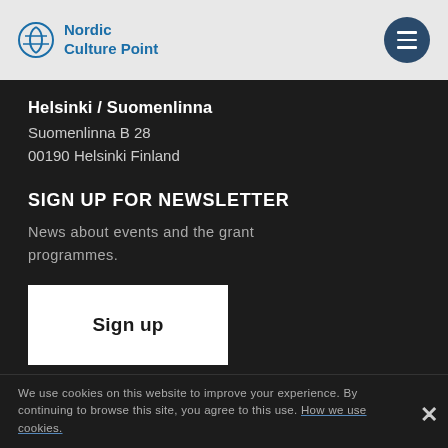Nordic Culture Point
Helsinki / Suomenlinna
Suomenlinna B 28
00190 Helsinki Finland
SIGN UP FOR NEWSLETTER
News about events and the grant programmes.
Sign up
We use cookies on this website to improve your experience. By continuing to browse this site, you agree to this use. How we use cookies.